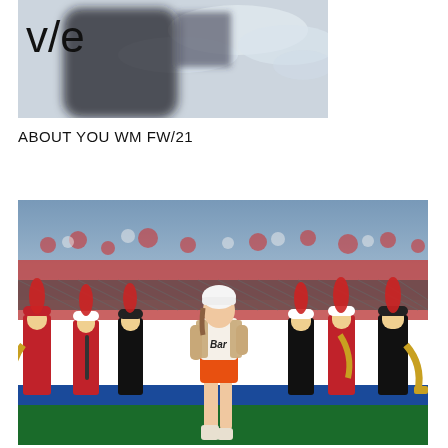[Figure (photo): Blurred photo showing a fashion/editorial image with 've' logo text overlay and dark figure silhouette against a cloudy sky background]
ABOUT YOU WM FW/21
[Figure (photo): Fashion editorial photo showing a female model wearing a white beanie, cropped varsity jacket with 'Bar' text, orange shorts, and boots, walking in front of a marching band in red and black uniforms with instruments including saxophones, against a stadium/baseball field backdrop with crowd in background]